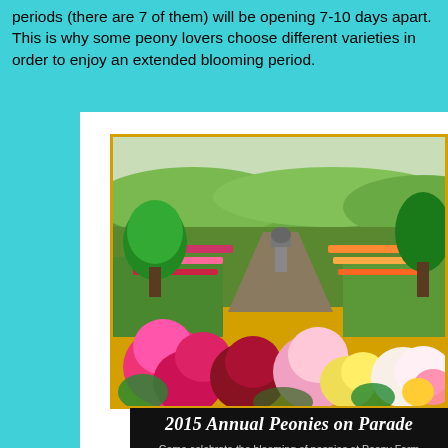periods (there are 7 of them) will be opening 7-10 days apart. This is why some peony lovers choose different varieties in order to enjoy an extended blooming period.
[Figure (photo): Aerial view of a peony farm with rows of colorful flowers including bright pink, red, white, and yellow peonies in the foreground, with green trees and rolling hills in the background.]
2015 Annual Peonies on Parade
Come celebrate the blooming of peonies at Peony Farm
From May 15 to June 28, different varieties